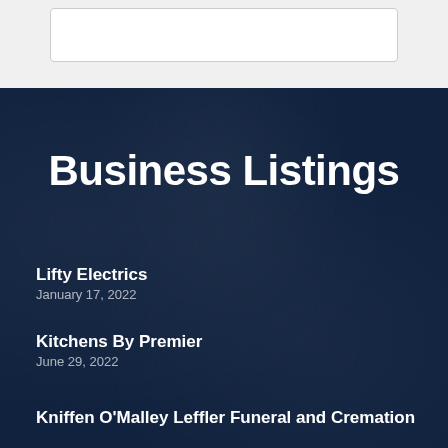Business Listings
Lifty Electrics
January 17, 2022
Kitchens By Premier
June 29, 2022
Kniffen O'Malley Leffler Funeral and Cremation